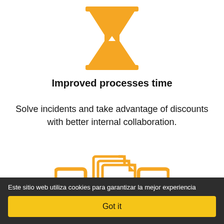[Figure (illustration): Orange hourglass icon centered at top of page]
Improved processes time
Solve incidents and take advantage of discounts with better internal collaboration.
[Figure (illustration): Orange icons showing documents and mobile devices]
Este sitio web utiliza cookies para garantizar la mejor experiencia
Got it